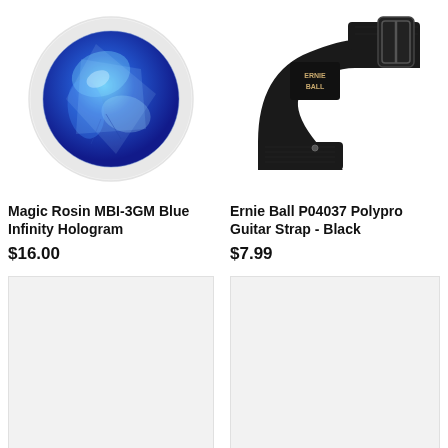[Figure (photo): Magic Rosin MBI-3GM Blue Infinity Hologram - circular rosin disc with blue holographic design in clear plastic holder]
[Figure (photo): Ernie Ball P04037 Polypro Guitar Strap in black, showing strap with buckle and Ernie Ball logo tag]
Magic Rosin MBI-3GM Blue Infinity Hologram
$16.00
Ernie Ball P04037 Polypro Guitar Strap - Black
$7.99
[Figure (photo): Placeholder product image (light gray background)]
[Figure (photo): Placeholder product image (light gray background)]